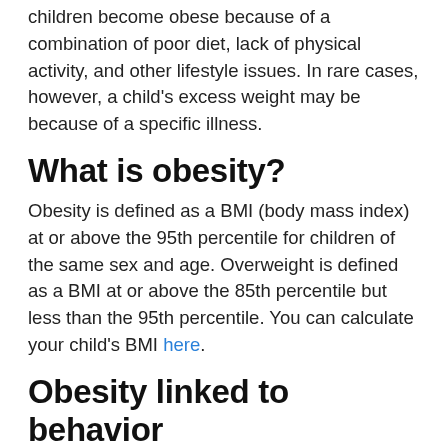children become obese because of a combination of poor diet, lack of physical activity, and other lifestyle issues. In rare cases, however, a child's excess weight may be because of a specific illness.
What is obesity?
Obesity is defined as a BMI (body mass index) at or above the 95th percentile for children of the same sex and age. Overweight is defined as a BMI at or above the 85th percentile but less than the 95th percentile. You can calculate your child's BMI here.
Obesity linked to behavior
Children who consume too many calories and don't get enough exercise are at risk for obesity. Some children, especially those in lower-income